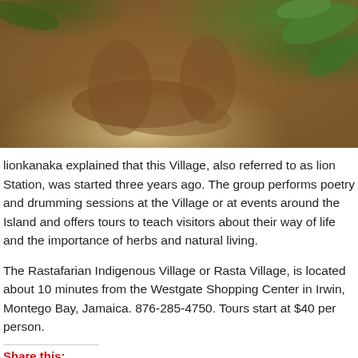[Figure (photo): Close-up photo of a person (cropped, showing torso and hands) seated outdoors among green foliage, with brown/tan tones dominating the image.]
lionkanaka explained that this Village, also referred to as lion Station, was started three years ago. The group performs poetry and drumming sessions at the Village or at events around the Island and offers tours to teach visitors about their way of life and the importance of herbs and natural living.
The Rastafarian Indigenous Village or Rasta Village, is located about 10 minutes from the Westgate Shopping Center in Irwin, Montego Bay, Jamaica. 876-285-4750. Tours start at $40 per person.
Share this:
[Figure (other): Social share buttons: Tweet (Twitter/blue), Save (Pinterest/red), Share (LinkedIn/blue)]